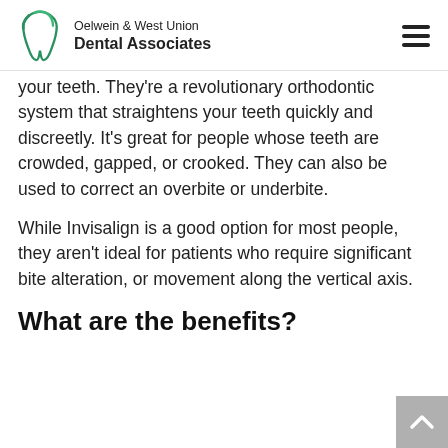Oelwein & West Union Dental Associates
your teeth. They're a revolutionary orthodontic system that straightens your teeth quickly and discreetly. It's great for people whose teeth are crowded, gapped, or crooked. They can also be used to correct an overbite or underbite.
While Invisalign is a good option for most people, they aren't ideal for patients who require significant bite alteration, or movement along the vertical axis.
What are the benefits?